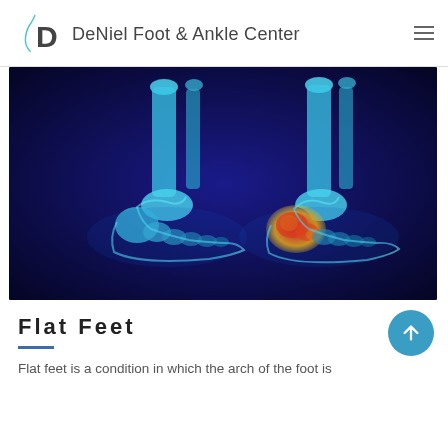DeNiel Foot & Ankle Center
[Figure (photo): X-ray style medical illustration showing two feet/ankles from the side on a dark blue background. The left foot shows normal bone structure in blue/cyan. The right foot shows highlighted area in red/orange/yellow at the heel and arch region indicating pain or inflammation — flat feet medical illustration.]
Flat Feet
Flat feet is a condition in which the arch of the foot is